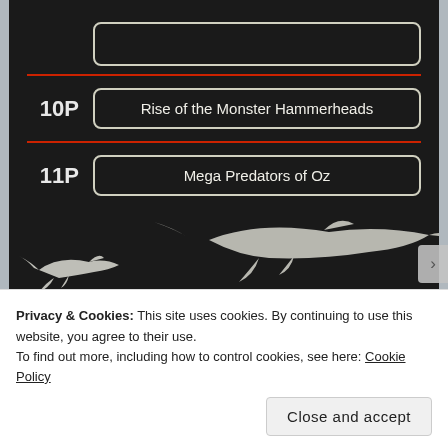[Figure (screenshot): Dark TV schedule showing '10P Rise of the Monster Hammerheads' and '11P Mega Predators of Oz' with shark silhouettes at bottom, from Shark Week programming guide]
–
[Figure (screenshot): Instagram post header from @sharkweek account with three-dot menu, followed by a red promotional banner showing 'TUE 7/26 SHARK WEEK episode 3/8']
Privacy & Cookies: This site uses cookies. By continuing to use this website, you agree to their use.
To find out more, including how to control cookies, see here: Cookie Policy
Close and accept